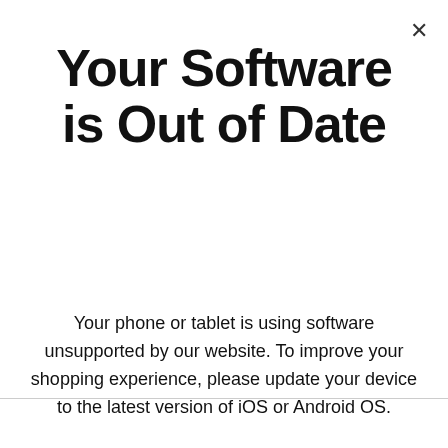Your Software is Out of Date
Your phone or tablet is using software unsupported by our website. To improve your shopping experience, please update your device to the latest version of iOS or Android OS.
certain remote locations, Alaska and Hawaii addresses. A supplemental shipping fee of $600 applies which includes shipping charge and White Glove Delivery.
[Figure (other): Chat button with teal rounded rectangle and chat bubble icon]
Contact Us